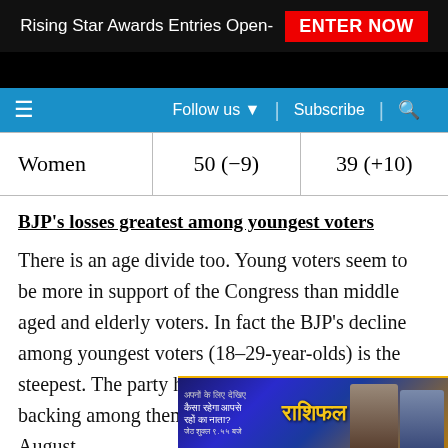Rising Star Awards Entries Open- ENTER NOW
| Women | 50 (-9) | 39 (+10) |
BJP's losses greatest among youngest voters
There is an age divide too. Young voters seem to be more in support of the Congress than middle aged and elderly voters. In fact the BJP's decline among youngest voters (18-29-year-olds) is the steepest. The party had received 63 percent backing among them in August [ad overlay] nalling
[Figure (other): Promotional advertisement overlay at bottom of page showing 'Rashifal' astrology show with two people and Hindi text]